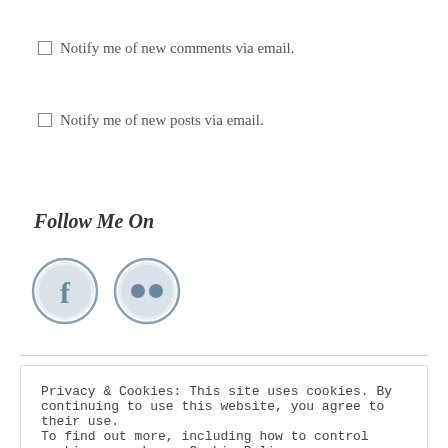Notify me of new comments via email.
Notify me of new posts via email.
Follow Me On
[Figure (illustration): Two circular social media icons: Facebook (f) and Flickr (two dots), both in muted blue-grey style]
Privacy & Cookies: This site uses cookies. By continuing to use this website, you agree to their use.
To find out more, including how to control cookies, see here: Cookie Policy
Close and accept